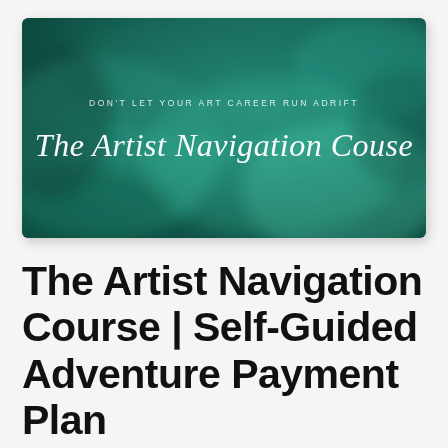[Figure (illustration): Course banner image with teal/green watercolor background. Text reads 'DON'T LET YOUR ART CAREER RUN ADRIFT' in small caps at top, and 'The Artist Navigation Couse' in large white cursive/script font below.]
The Artist Navigation Course | Self-Guided Adventure Payment Plan